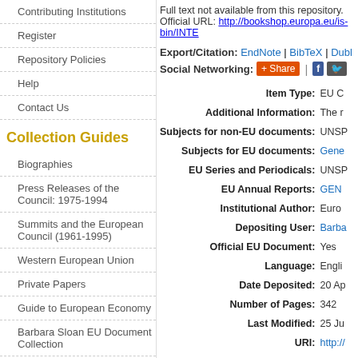Contributing Institutions
Register
Repository Policies
Help
Contact Us
Collection Guides
Biographies
Press Releases of the Council: 1975-1994
Summits and the European Council (1961-1995)
Western European Union
Private Papers
Guide to European Economy
Barbara Sloan EU Document Collection
Search and Browse
Full text not available from this repository. Official URL: http://bookshop.europa.eu/is-bin/INTE
Export/Citation: EndNote | BibTeX | Dubl
Social Networking: Share | F
| Field | Value |
| --- | --- |
| Item Type: | EU C |
| Additional Information: | The r |
| Subjects for non-EU documents: | UNSP |
| Subjects for EU documents: | Gene |
| EU Series and Periodicals: | UNSP |
| EU Annual Reports: | GEN |
| Institutional Author: | Euro |
| Depositing User: | Barba |
| Official EU Document: | Yes |
| Language: | Engli |
| Date Deposited: | 20 Ap |
| Number of Pages: | 342 |
| Last Modified: | 25 Ju |
| URI: | http:// |